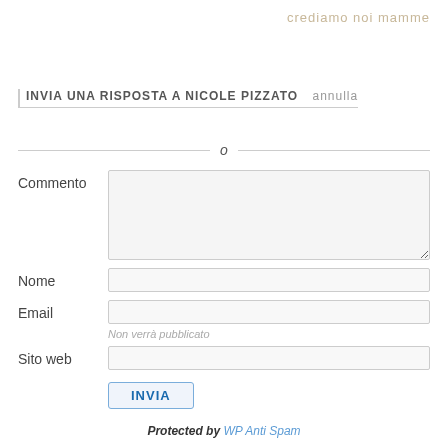crediamo noi mamme
INVIA UNA RISPOSTA A NICOLE PIZZATO   annulla
o
Commento
Nome
Email
Non verrà pubblicato
Sito web
INVIA
Protected by WP Anti Spam